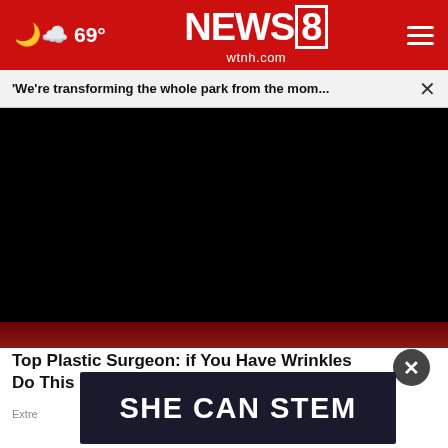NEWS8 wtnh.com — 69°
'We're transforming the whole park from the mom... ×
[Figure (screenshot): Black video player area with dark red bottom strip]
Top Plastic Surgeon: if You Have Wrinkles Do This Before Bed
Extre...
[Figure (screenshot): SHE CAN STEM dark banner advertisement with white bold text]